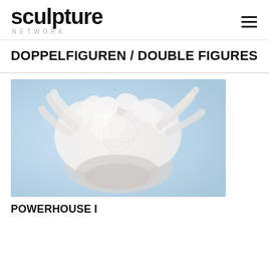sculpture NETWORK
DOPPELFIGUREN / DOUBLE FIGURES
[Figure (photo): Close-up photograph of a white glazed ceramic or plaster sculpture showing intertwined abstract organic forms, two figures merged together, against a light blue background.]
POWERHOUSE I